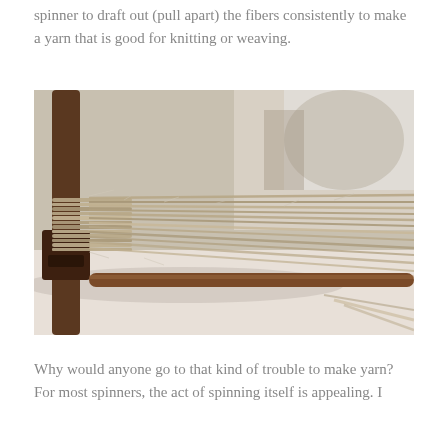spinner to draft out (pull apart) the fibers consistently to make a yarn that is good for knitting or weaving.
[Figure (photo): Close-up photograph of natural spun yarn wound around a wooden spindle or warping board, showing multiple strands of light brown/gray fiber spread across a horizontal wooden dowel.]
Why would anyone go to that kind of trouble to make yarn? For most spinners, the act of spinning itself is appealing. I